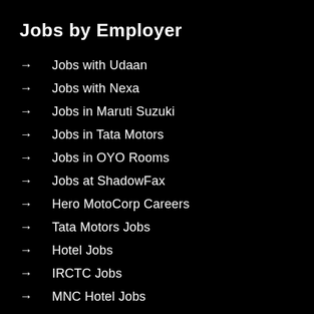Jobs by Employer
Jobs with Udaan
Jobs with Nexa
Jobs in Maruti Suzuki
Jobs in Tata Motors
Jobs in OYO Rooms
Jobs at ShadowFax
Hero MotoCorp Careers
Tata Motors Jobs
Hotel Jobs
IRCTC Jobs
MNC Hotel Jobs
Jobs by area